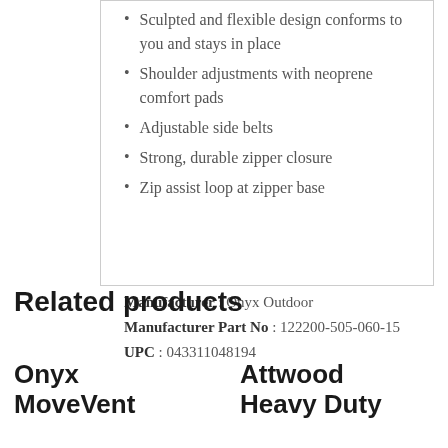Sculpted and flexible design conforms to you and stays in place
Shoulder adjustments with neoprene comfort pads
Adjustable side belts
Strong, durable zipper closure
Zip assist loop at zipper base
Manufacturer : Onyx Outdoor
Manufacturer Part No : 122200-505-060-15
UPC : 043311048194
Related products
Onyx MoveVent
Attwood Heavy Duty